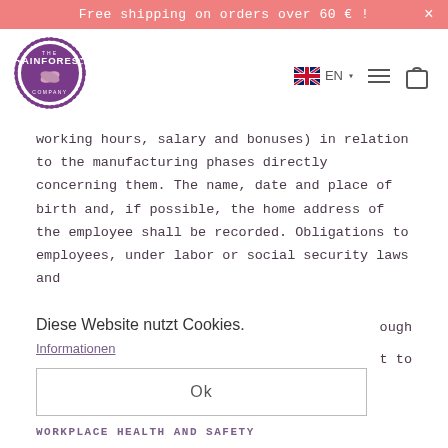Free shipping on orders over 60 € !
[Figure (logo): The Rainforest Company circular logo in purple]
working hours, salary and bonuses) in relation to the manufacturing phases directly concerning them. The name, date and place of birth and, if possible, the home address of the employee shall be recorded. Obligations to employees, under labor or social security laws and
Diese Website nutzt Cookies.
Informationen
ough
t to
Ok
WORKPLACE HEALTH AND SAFETY